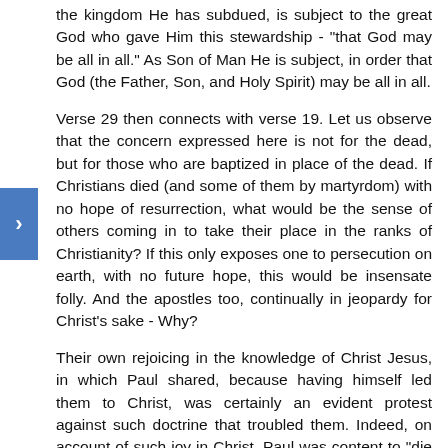the kingdom He has subdued, is subject to the great God who gave Him this stewardship - "that God may be all in all." As Son of Man He is subject, in order that God (the Father, Son, and Holy Spirit) may be all in all.
Verse 29 then connects with verse 19. Let us observe that the concern expressed here is not for the dead, but for those who are baptized in place of the dead. If Christians died (and some of them by martyrdom) with no hope of resurrection, what would be the sense of others coming in to take their place in the ranks of Christianity? If this only exposes one to persecution on earth, with no future hope, this would be insensate folly. And the apostles too, continually in jeopardy for Christ's sake - Why?
Their own rejoicing in the knowledge of Christ Jesus, in which Paul shared, because having himself led them to Christ, was certainly an evident protest against such doctrine that troubled them. Indeed, on account of such joy in Christ, Paul was content to "die daily." To speak after the manner of men, he had fought with beasts at